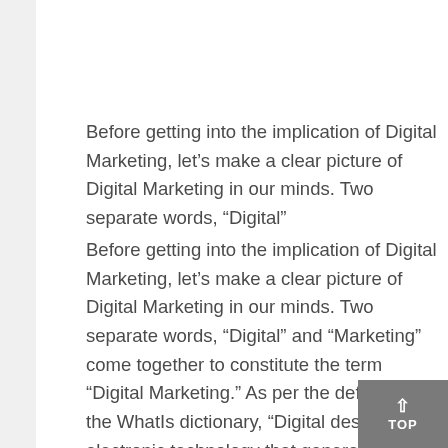Before getting into the implication of Digital Marketing, let’s make a clear picture of Digital Marketing in our minds. Two separate words, “Digital”
Before getting into the implication of Digital Marketing, let’s make a clear picture of Digital Marketing in our minds. Two separate words, “Digital” and “Marketing” come together to constitute the term “Digital Marketing.” As per the definition of the WhatIs dictionary, “Digital describes electronic technology that generates, stores, and processes data in terms of two-state: Positive and Non-Positive represented